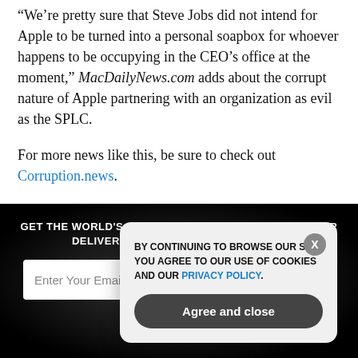“We’re pretty sure that Steve Jobs did not intend for Apple to be turned into a personal soapbox for whoever happens to be occupying in the CEO’s office at the moment,” MacDailyNews.com adds about the corrupt nature of Apple partnering with an organization as evil as the SPLC.
For more news like this, be sure to check out Corruption.news.
[Figure (screenshot): Dark newsletter signup section with 'GET THE WORLD'S BEST NATURAL HEALTH NEWSLETTER DELIVERED STRAIGHT TO YOUR INBOX' heading, email input field, and SUBSCRIBE button. A cookie consent popup overlays it with text 'BY CONTINUING TO BROWSE OUR SITE YOU AGREE TO OUR USE OF COOKIES AND OUR PRIVACY POLICY.' and an 'Agree and close' button.]